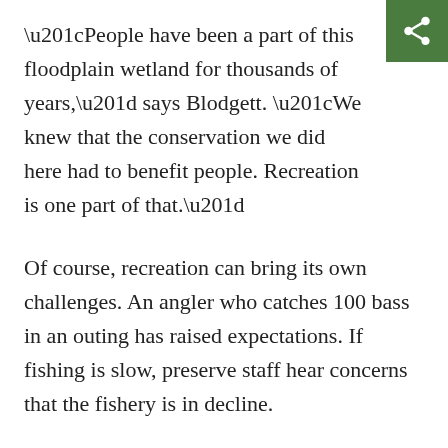“People have been a part of this floodplain wetland for thousands of years,” says Blodgett. “We knew that the conservation we did here had to benefit people. Recreation is one part of that.”
Of course, recreation can bring its own challenges. An angler who catches 100 bass in an outing has raised expectations. If fishing is slow, preserve staff hear concerns that the fishery is in decline.
“Emiquon is a dynamic system,” says Blodgett. “It changes from year to year. The vegetation and water levels change. That can also change where the fish are.”